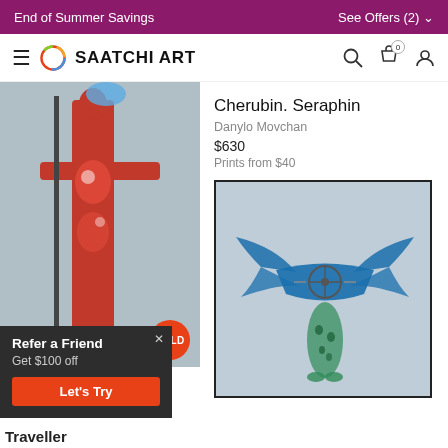End of Summer Savings | See Offers (2)
SAATCHI ART
Cherubin. Seraphin
Danylo Movchan
$630
Prints from $40
[Figure (photo): Artwork showing a figure with red body paint holding a staff on grey background, marked SOLD]
Refer a Friend
Get $100 off
Let's Try
Traveller
[Figure (photo): Artwork showing a blue winged figure with green body details on light blue background]